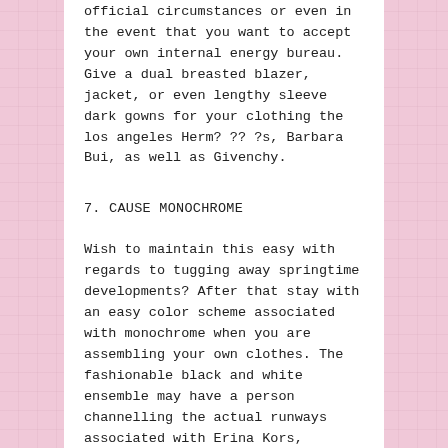official circumstances or even in the event that you want to accept your own internal energy bureau. Give a dual breasted blazer, jacket, or even lengthy sleeve dark gowns for your clothing the los angeles Herm? ?? ?s, Barbara Bui, as well as Givenchy.
7. CAUSE MONOCHROME
Wish to maintain this easy with regards to tugging away springtime developments? After that stay with an easy color scheme associated with monochrome when you are assembling your own clothes. The fashionable black and white ensemble may have a person channelling the actual runways associated with Erina Kors, Alexander Wang, as well as Rachel Zoe.
8. COLOUR OBSTRUCTING two. O
Colour obstructing has dropped from the